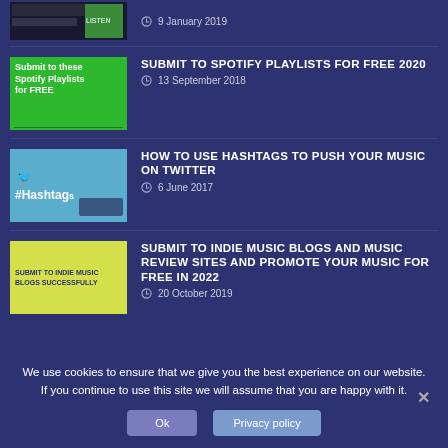[Figure (screenshot): Partially visible dark thumbnail image with text, cut off at top]
9 January 2019
[Figure (illustration): Green thumbnail with text: Submit to these Spotify Playlists for FREE]
SUBMIT TO SPOTIFY PLAYLISTS FOR FREE 2020
13 September 2018
[Figure (screenshot): Blue Twitter hashtag thumbnail with #Hashtags text]
HOW TO USE HASHTAGS TO PUSH YOUR MUSIC ON TWITTER
6 June 2017
[Figure (illustration): Yellow-green thumbnail: Submit to Indie Music Blogs Successfully]
SUBMIT TO INDIE MUSIC BLOGS AND MUSIC REVIEW SITES AND PROMOTE YOUR MUSIC FOR FREE IN 2022
20 October 2019
We use cookies to ensure that we give you the best experience on our website. If you continue to use this site we will assume that you are happy with it.